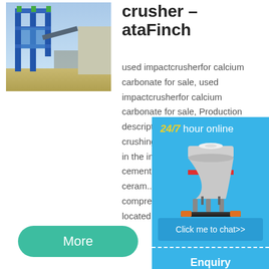crusher – ataFinch
[Figure (photo): Industrial crusher/processing plant photograph showing large industrial machinery with blue steel framework and structures]
used impactcrusherfor calcium carbonate for sale, used impactcrusherfor calcium carbonate for sale, Production description of calcium oyster shell crushing machine ja... mainly used in the in... metallurgy, mining, ... cement, constructio... materials and ceram... crush hard and soft... compressive streng... mpa , ltd located in j...
[Figure (illustration): 24/7 hour online chat widget with blue background showing a white cone crusher machine illustration, a 'Click me to chat>>' button, an 'Enquiry' section, and partial email address]
More